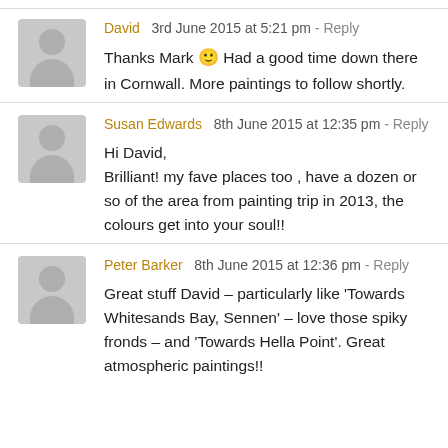David  3rd June 2015 at 5:21 pm - Reply
Thanks Mark 🙂 Had a good time down there in Cornwall. More paintings to follow shortly.
Susan Edwards  8th June 2015 at 12:35 pm - Reply
Hi David,
Brilliant! my fave places too , have a dozen or so of the area from painting trip in 2013, the colours get into your soul!!
Peter Barker  8th June 2015 at 12:36 pm - Reply
Great stuff David – particularly like 'Towards Whitesands Bay, Sennen' – love those spiky fronds – and 'Towards Hella Point'. Great atmospheric paintings!!